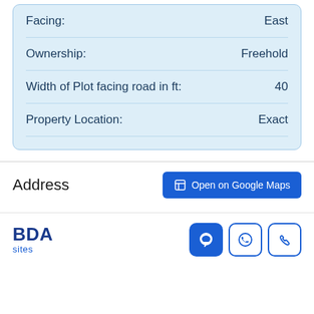| Field | Value |
| --- | --- |
| Facing: | East |
| Ownership: | Freehold |
| Width of Plot facing road in ft: | 40 |
| Property Location: | Exact |
Address
Open on Google Maps
[Figure (logo): BDA sites logo with stylized BDA text in dark blue and 'sites' in lighter blue below]
[Figure (other): Footer action icons: chat bubble (filled blue), WhatsApp, phone call]